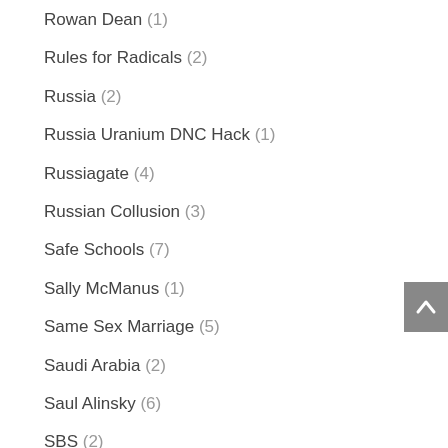Rowan Dean (1)
Rules for Radicals (2)
Russia (2)
Russia Uranium DNC Hack (1)
Russiagate (4)
Russian Collusion (3)
Safe Schools (7)
Sally McManus (1)
Same Sex Marriage (5)
Saudi Arabia (2)
Saul Alinsky (6)
SBS (2)